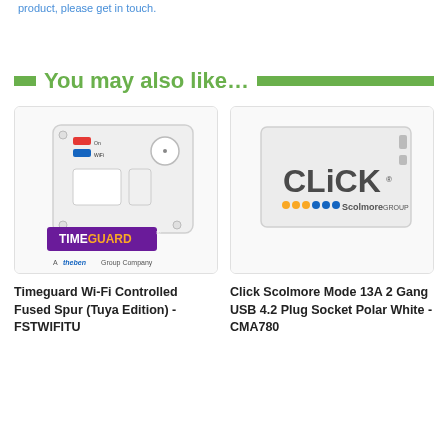product, please get in touch.
You may also like…
[Figure (photo): Timeguard Wi-Fi Controlled Fused Spur product with TIMEGUARD branding and 'A theben Group Company' tagline]
[Figure (photo): Click Scolmore Mode 13A 2 Gang USB 4.2 Plug Socket product with Click Scolmore GROUP logo]
Timeguard Wi-Fi Controlled Fused Spur (Tuya Edition) - FSTWIFITU
Click Scolmore Mode 13A 2 Gang USB 4.2 Plug Socket Polar White - CMA780